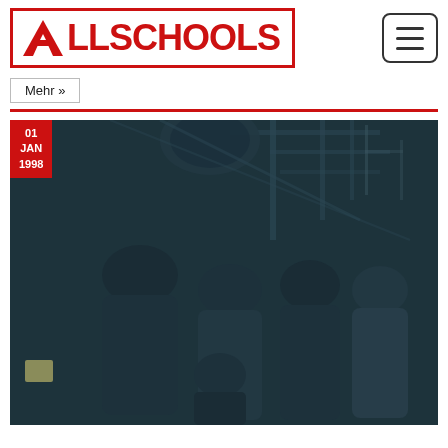[Figure (logo): ALLSCHOOLS logo with red border and red triangle/arrow icon on the left, bold red text reading ALLSCHOOLS]
[Figure (other): Hamburger menu button (three horizontal lines) with rounded rectangle border]
Mehr »
[Figure (photo): Dark teal-toned photo of a group of 4-5 people (a band) posing in front of an industrial structure with metal beams and pipes. Date badge in top-left corner reading 01 JAN 1998.]